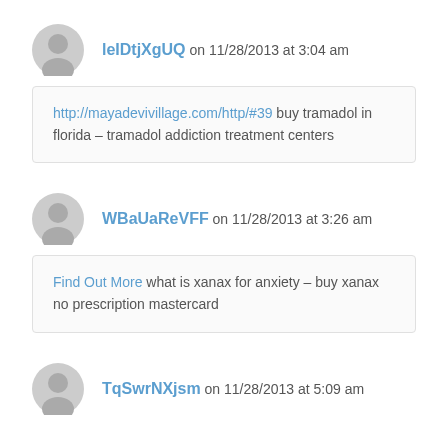leIDtjXgUQ on 11/28/2013 at 3:04 am
http://mayadevivillage.com/http/#39 buy tramadol in florida – tramadol addiction treatment centers
WBaUaReVFF on 11/28/2013 at 3:26 am
Find Out More what is xanax for anxiety – buy xanax no prescription mastercard
TqSwrNXjsm on 11/28/2013 at 5:09 am